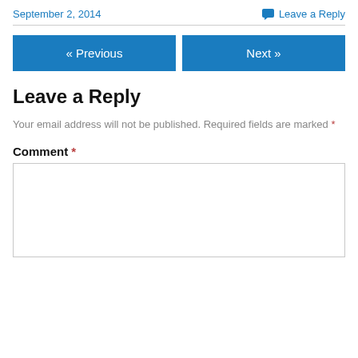September 2, 2014
Leave a Reply
« Previous
Next »
Leave a Reply
Your email address will not be published. Required fields are marked *
Comment *